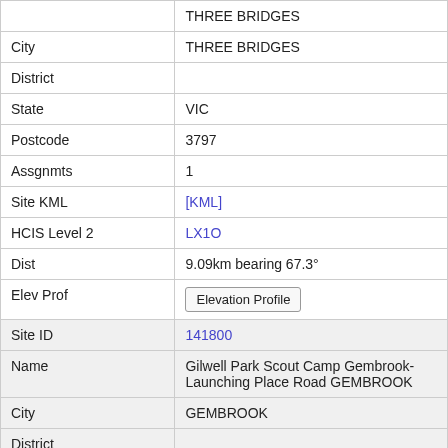|  | THREE BRIDGES |
| City | THREE BRIDGES |
| District |  |
| State | VIC |
| Postcode | 3797 |
| Assgnmts | 1 |
| Site KML | [KML] |
| HCIS Level 2 | LX1O |
| Dist | 9.09km bearing 67.3° |
| Elev Prof | Elevation Profile |
| Site ID | 141800 |
| Name | Gilwell Park Scout Camp Gembrook-Launching Place Road GEMBROOK |
| City | GEMBROOK |
| District |  |
| State | VIC |
| Postcode | 3783 |
| Assgnmts | 2 |